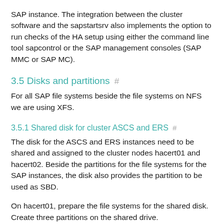SAP instance. The integration between the cluster software and the sapstartsrv also implements the option to run checks of the HA setup using either the command line tool sapcontrol or the SAP management consoles (SAP MMC or SAP MC).
3.5 Disks and partitions #
For all SAP file systems beside the file systems on NFS we are using XFS.
3.5.1 Shared disk for cluster ASCS and ERS #
The disk for the ASCS and ERS instances need to be shared and assigned to the cluster nodes hacert01 and hacert02. Beside the partitions for the file systems for the SAP instances, the disk also provides the partition to be used as SBD.
On hacert01, prepare the file systems for the shared disk. Create three partitions on the shared drive.